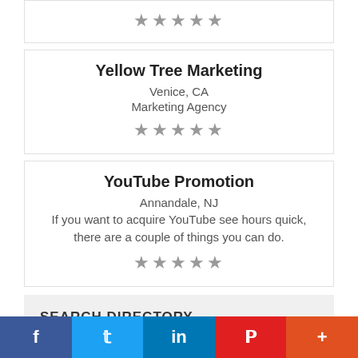[Figure (other): Star rating row (partial card at top) showing 5 grey stars]
Yellow Tree Marketing
Venice, CA
Marketing Agency
[Figure (other): Star rating row showing 5 grey stars for Yellow Tree Marketing]
YouTube Promotion
Annandale, NJ
If you want to acquire YouTube see hours quick, there are a couple of things you can do.
[Figure (other): Star rating row showing 5 grey stars for YouTube Promotion]
SEARCH DIRECTORY
[Figure (other): Social sharing bar with Facebook, Twitter, LinkedIn, Pinterest, and More buttons]